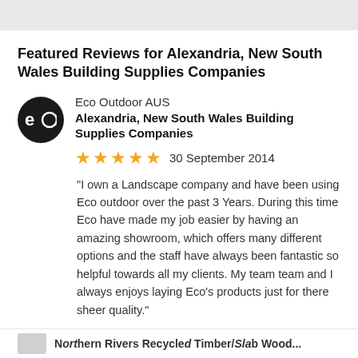Featured Reviews for Alexandria, New South Wales Building Supplies Companies
Eco Outdoor AUS
Alexandria, New South Wales Building Supplies Companies
★★★★★  30 September 2014
"I own a Landscape company and have been using Eco outdoor over the past 3 Years. During this time Eco have made my job easier by having an amazing showroom, which offers many different options and the staff have always been fantastic so helpful towards all my clients. My team team and I always enjoys laying Eco's products just for there sheer quality."